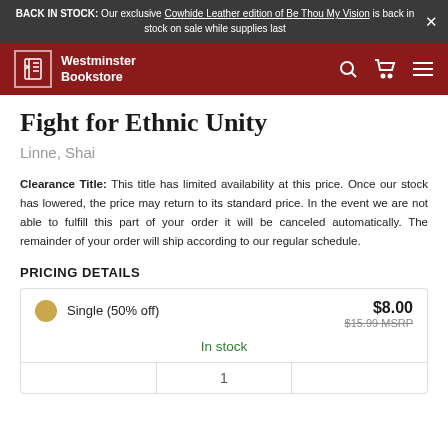BACK IN STOCK: Our exclusive Cowhide Leather edition of Be Thou My Vision is back in stock on sale while supplies last
[Figure (logo): Westminster Bookstore logo with navigation icons on dark red header]
Fight for Ethnic Unity
Linne, Shai
Clearance Title: This title has limited availability at this price. Once our stock has lowered, the price may return to its standard price. In the event we are not able to fulfill this part of your order it will be canceled automatically. The remainder of your order will ship according to our regular schedule.
PRICING DETAILS
| Option | Price | MSRP | Availability |
| --- | --- | --- | --- |
| Single (50% off) | $8.00 | $15.99 MSRP | In stock |